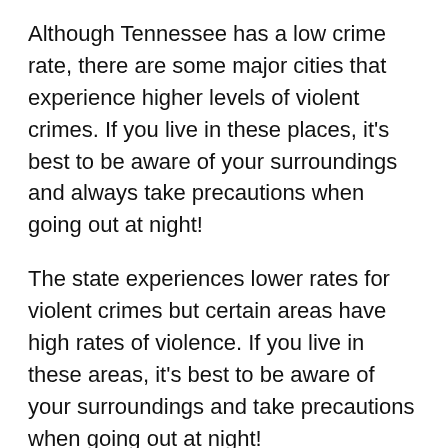Although Tennessee has a low crime rate, there are some major cities that experience higher levels of violent crimes. If you live in these places, it’s best to be aware of your surroundings and always take precautions when going out at night!
The state experiences lower rates for violent crimes but certain areas have high rates of violence. If you live in these areas, it’s best to be aware of your surroundings and take precautions when going out at night!
Cities and places that are not so ideal to live in Tennessee